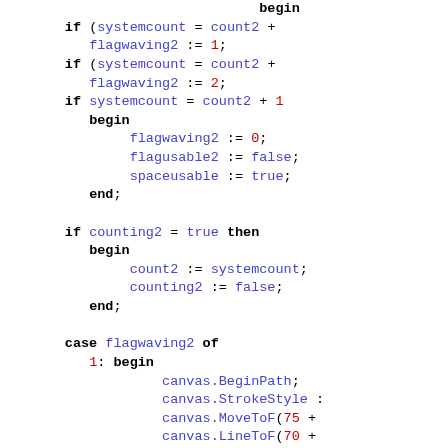[Figure (other): Source code snippet in Pascal-like language showing flag waving and counting logic with canvas drawing commands]